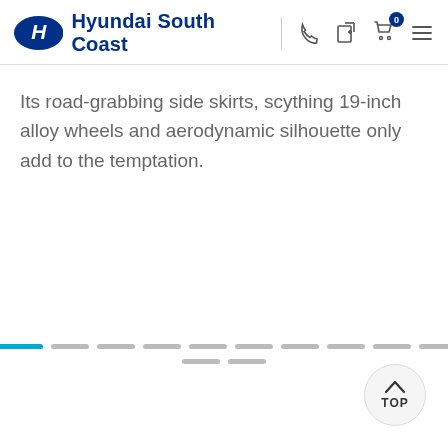Hyundai South Coast
Its road-grabbing side skirts, scything 19-inch alloy wheels and aerodynamic silhouette only add to the temptation.
[Figure (other): Pagination indicator with one active blue dash and multiple inactive grey dashes arranged in two rows]
[Figure (other): TOP scroll-to-top button, circular grey button with upward chevron arrow and TOP label]